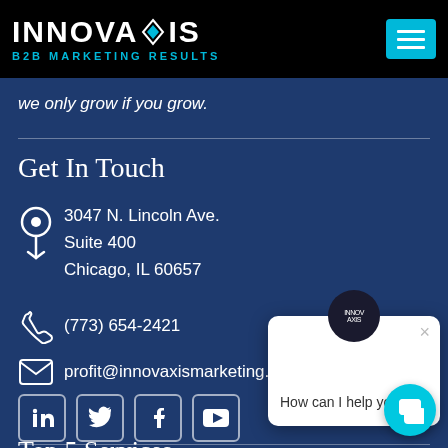[Figure (logo): Innovaxis logo with diamond shape icon, text INNOVAXIS and tagline B2B MARKETING RESULTS on black header bar]
INNOVAXIS B2B MARKETING RESULTS
we only grow if you grow.
Get In Touch
3047 N. Lincoln Ave.
Suite 400
Chicago, IL 60657
(773) 654-2421
profit@innovaxismarketing.com
[Figure (screenshot): Chat popup overlay with Innovaxis avatar and text 'How can I help you?' with close button]
Top 5 Services